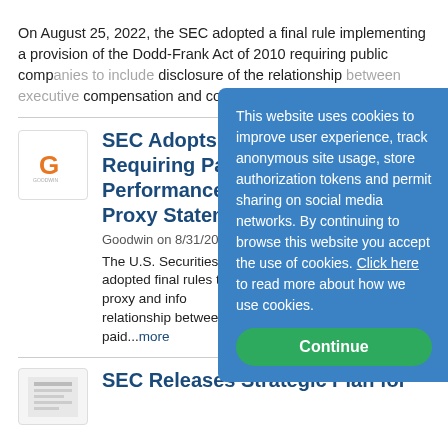On August 25, 2022, the SEC adopted a final rule implementing a provision of the Dodd-Frank Act of 2010 requiring public companies to include disclosure of the relationship between executive compensation and company...
[Figure (logo): Goodwin law firm logo — orange G on white background]
SEC Adopts Final Rules Requiring Pay Versus Performance Disclosures in Proxy Statements
Goodwin on 8/31/2022
The U.S. Securities and Exchange Commission has adopted final rules that will require new disclosures in proxy and information statements about the relationship between executive compensation actually paid...more
[Figure (illustration): Small document thumbnail image]
SEC Releases Strategic Plan for
This website uses cookies to improve user experience, track anonymous site usage, store authorization tokens and permit sharing on social media networks. By continuing to browse this website you accept the use of cookies. Click here to read more about how we use cookies.